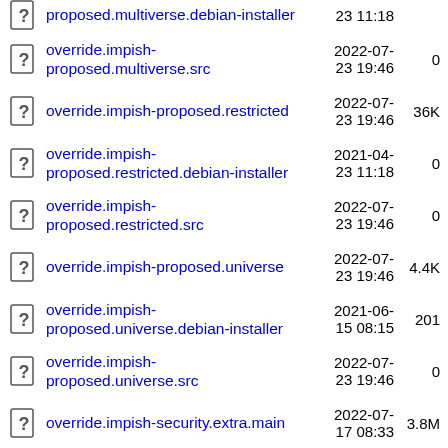proposed.multiverse.debian-installer  23 11:18
override.impish-proposed.multiverse.src  2022-07-23 19:46  0
override.impish-proposed.restricted  2022-07-23 19:46  36K
override.impish-proposed.restricted.debian-installer  2021-04-23 11:18  0
override.impish-proposed.restricted.src  2022-07-23 19:46  0
override.impish-proposed.universe  2022-07-23 19:46  4.4K
override.impish-proposed.universe.debian-installer  2021-06-15 08:15  201
override.impish-proposed.universe.src  2022-07-23 19:46  0
override.impish-security.extra.main  2022-07-17 08:33  3.8M
override.impish-security.extra.multiverse  2022-07-17 08:33  3.7M
override.impish-security.extra.restricted  2022-07-17 08:33  3.7M
override.impish-security.extra.universe  2022-07-17 08:33  3.8M